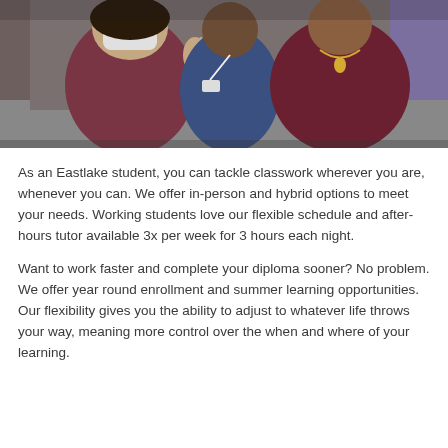[Figure (photo): Three people posing together indoors; one wearing a mask and maroon cardigan, one in a blue shirt with lanyard, one in a maroon jacket. Purple wall visible in background.]
As an Eastlake student, you can tackle classwork wherever you are, whenever you can. We offer in-person and hybrid options to meet your needs. Working students love our flexible schedule and after-hours tutor available 3x per week for 3 hours each night.
Want to work faster and complete your diploma sooner? No problem. We offer year round enrollment and summer learning opportunities. Our flexibility gives you the ability to adjust to whatever life throws your way, meaning more control over the when and where of your learning.